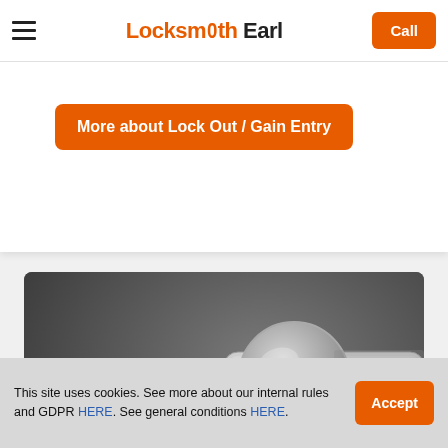Locksmith Earl | Call
More about Lock Out / Gain Entry
[Figure (photo): Close-up photo of a silver euro cylinder door lock and a key lying on a dark reflective surface]
This site uses cookies. See more about our internal rules and GDPR HERE. See general conditions HERE.